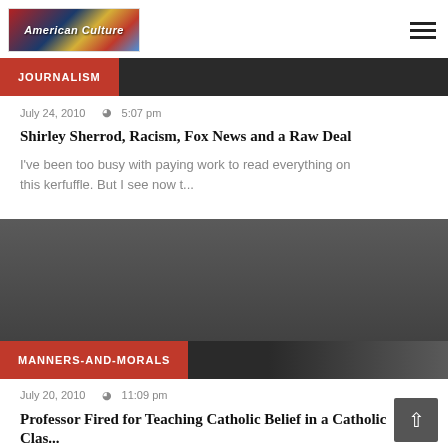[Figure (logo): American Culture website logo with American flag background]
[Figure (other): Hamburger menu icon (three horizontal lines)]
JOURNALISM
July 24, 2010  5:07 pm
Shirley Sherrod, Racism, Fox News and a Raw Deal
I've been too busy with paying work to read everything on this kerfuffle. But I see now t...
[Figure (photo): Dark gray image block with MANNERS-AND-MORALS category tag overlay]
MANNERS-AND-MORALS
July 20, 2010  11:09 pm
Professor Fired for Teaching Catholic Belief in a Catholic Class...